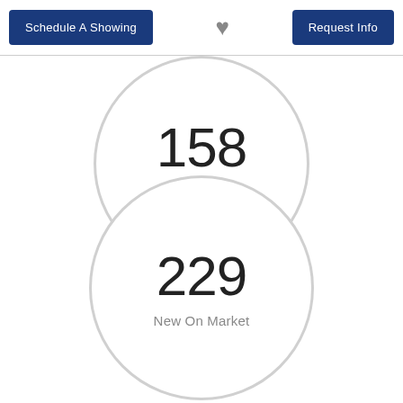Schedule A Showing
[Figure (other): Heart icon (favorite/save button)]
Request Info
[Figure (infographic): Circle graphic showing '158 Homes Sold']
[Figure (infographic): Circle graphic showing '229 New On Market']